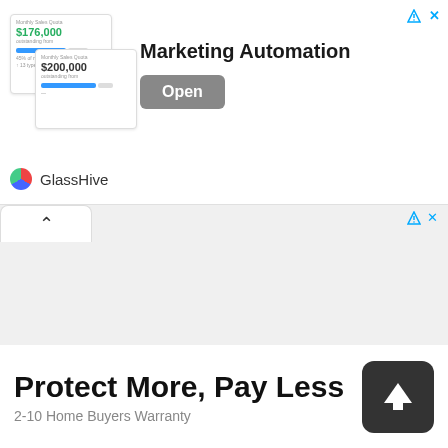[Figure (screenshot): Marketing Automation ad banner for GlassHive with mock dashboard image, Open button, and close/ad icons]
[Figure (screenshot): Browser tab with up chevron, light gray content area background]
[Figure (screenshot): Bottom ad: Protect More, Pay Less — 2-10 Home Buyers Warranty with dark upload/arrow button]